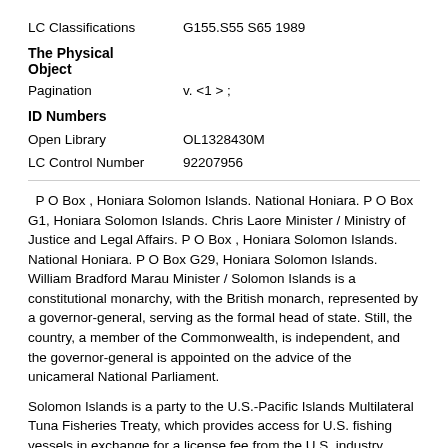LC Classifications    G155.S55 S65 1989
The Physical Object
Pagination    v. <1 > ;
ID Numbers
Open Library    OL1328430M
LC Control Number    92207956
P O Box , Honiara Solomon Islands. National Honiara. P O Box G1, Honiara Solomon Islands. Chris Laore Minister / Ministry of Justice and Legal Affairs. P O Box , Honiara Solomon Islands. National Honiara. P O Box G29, Honiara Solomon Islands. William Bradford Marau Minister / Solomon Islands is a constitutional monarchy, with the British monarch, represented by a governor-general, serving as the formal head of state. Still, the country, a member of the Commonwealth, is independent, and the governor-general is appointed on the advice of the unicameral National Parliament.
Solomon Islands is a party to the U.S.-Pacific Islands Multilateral Tuna Fisheries Treaty, which provides access for U.S. fishing vessels in exchange for a license fee from the U.S. industry. Under a separate Economic Assistance Agreement associated with the Treaty, the U.S.